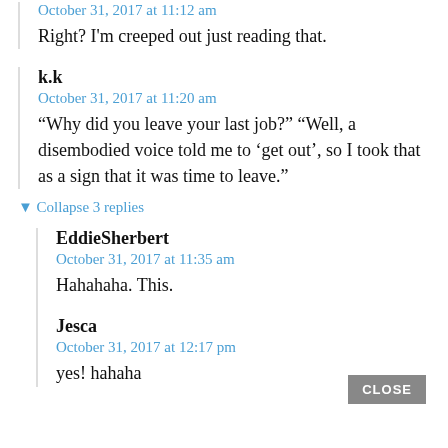October 31, 2017 at 11:12 am
Right? I'm creeped out just reading that.
k.k
October 31, 2017 at 11:20 am
“Why did you leave your last job?” “Well, a disembodied voice told me to ‘get out’, so I took that as a sign that it was time to leave.”
▼ Collapse 3 replies
EddieSherbert
October 31, 2017 at 11:35 am
Hahahaha. This.
Jesca
October 31, 2017 at 12:17 pm
yes! hahaha
CLOSE